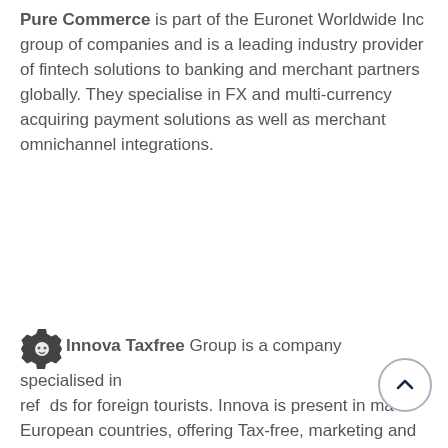Pure Commerce is part of the Euronet Worldwide Inc group of companies and is a leading industry provider of fintech solutions to banking and merchant partners globally. They specialise in FX and multi-currency acquiring payment solutions as well as merchant omnichannel integrations.
Innova Taxfree Group is a company specialised in refunds for foreign tourists. Innova is present in many European countries, offering Tax-free, marketing and